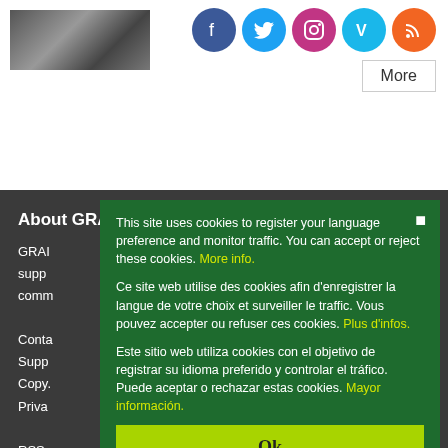[Figure (photo): Black and white thumbnail photo in top-left corner]
[Figure (infographic): Social media icons: Facebook (blue), Twitter (blue), Instagram (pink/red), Vimeo (blue), RSS (orange) in circular icons]
More
About GRAIN
GRAIN
supp
comm
Conta
Supp
Copy.
Priva
RSS
Twitt
Faceb
Insta
Vime
This site uses cookies to register your language preference and monitor traffic. You can accept or reject these cookies. More info.
Ce site web utilise des cookies afin d'enregistrer la langue de votre choix et surveiller le traffic. Vous pouvez accepter ou refuser ces cookies. Plus d'infos.
Este sitio web utiliza cookies con el objetivo de registrar su idioma preferido y controlar el tráfico. Puede aceptar o rechazar estas cookies. Mayor información.
Ok